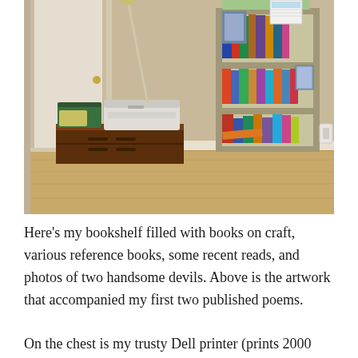[Figure (photo): A room with a bookshelf filled with books and framed photos, a wooden chest with a Dell printer and green container on top, a door in the background, and hardwood flooring.]
Here's my bookshelf filled with books on craft, various reference books, some recent reads, and photos of two handsome devils. Above is the artwork that accompanied my first two published poems.

On the chest is my trusty Dell printer (prints 2000 pages before it needs new toner!) and a container of